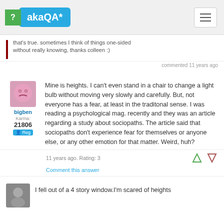akaQA*
that's true. sometimes I think of things one-sided without really knowing, thanks colleen :)
commented 11 years ago
Mine is heights. I can't even stand in a chair to change a light bulb without moving very slowly and carefully. But, not everyone has a fear, at least in the traditonal sense. I was reading a psychological mag. recently and they was an article regarding a study about sociopaths. The article said that sociopaths don't experience fear for themselves or anyone else, or any other emotion for that matter. Weird, huh?
11 years ago. Rating: 3
Comment this answer
I fell out of a 4 story window.I'm scared of heights